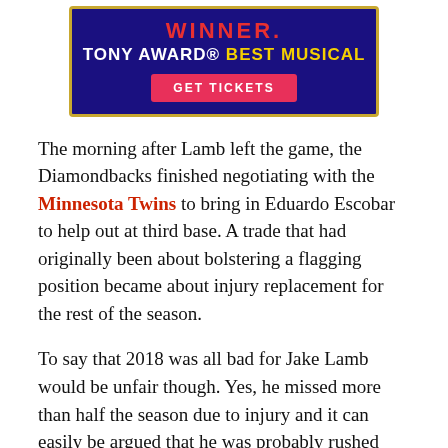[Figure (other): Advertisement banner for a Tony Award Best Musical winner with a 'GET TICKETS' button on a dark navy/purple background with gold border]
The morning after Lamb left the game, the Diamondbacks finished negotiating with the Minnesota Twins to bring in Eduardo Escobar to help out at third base. A trade that had originally been about bolstering a flagging position became about injury replacement for the rest of the season.
To say that 2018 was all bad for Jake Lamb would be unfair though. Yes, he missed more than half the season due to injury and it can easily be argued that he was probably rushed back too early from his April second shoulder injury, leading to a sub-optimal 12-week stretch at the plate. However, despite Lamb's